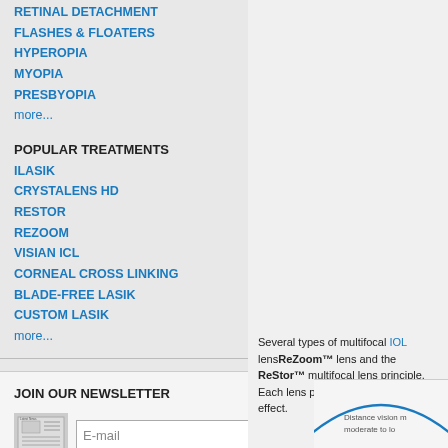RETINAL DETACHMENT
FLASHES & FLOATERS
HYPEROPIA
MYOPIA
PRESBYOPIA
more...
POPULAR TREATMENTS
ILASIK
CRYSTALENS HD
RESTOR
REZOOM
VISIAN ICL
CORNEAL CROSS LINKING
BLADE-FREE LASIK
CUSTOM LASIK
more...
JOIN OUR NEWSLETTER
retina. The higher-powered zones focus near images on the retina. Thus, different zones of lens provide near and distance vision.
A multifocal IOL lens freely... ob...
Several types of multifocal IOL lenses are available. The ReZoom™ lens and the ReStor™ ... multifocal lens principle. Each lens ... provide a multifocal effect.
[Figure (illustration): Partial diagram showing a green chevron/arrow symbol with gray horizontal lines, representing a multifocal IOL lens diagram.]
[Figure (illustration): Partial arc diagram at bottom right showing 'Distance vision moderate to lo...' label with a curved arc.]